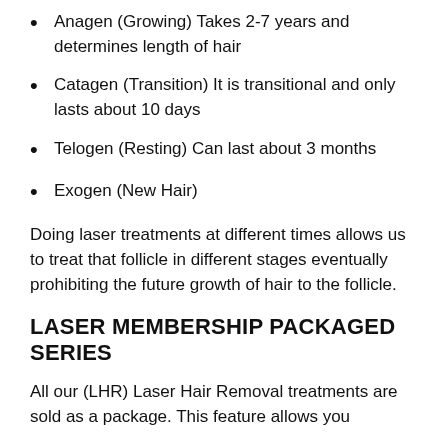Anagen (Growing) Takes 2-7 years and determines length of hair
Catagen (Transition) It is transitional and only lasts about 10 days
Telogen (Resting) Can last about 3 months
Exogen (New Hair)
Doing laser treatments at different times allows us to treat that follicle in different stages eventually prohibiting the future growth of hair to the follicle.
LASER MEMBERSHIP PACKAGED SERIES
All our (LHR) Laser Hair Removal treatments are sold as a package. This feature allows you